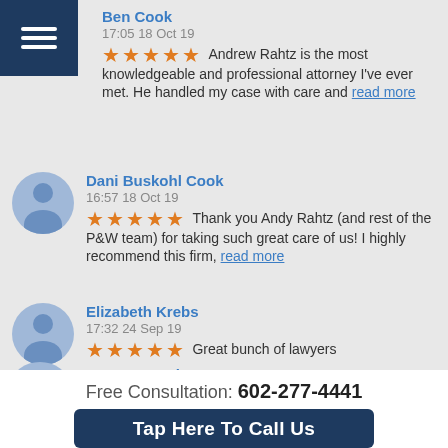Ben Cook
17:05 18 Oct 19
Andrew Rahtz is the most knowledgeable and professional attorney I've ever met. He handled my case with care and read more
Dani Buskohl Cook
16:57 18 Oct 19
Thank you Andy Rahtz (and rest of the P&W team) for taking such great care of us!  I highly recommend this firm, read more
Elizabeth Krebs
17:32 24 Sep 19
Great bunch of lawyers
Courtney Laabs
Free Consultation: 602-277-4441
Tap Here To Call Us